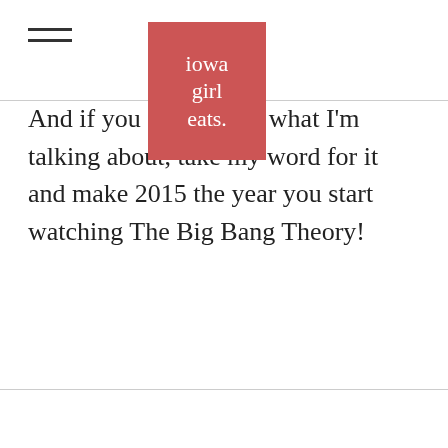iowa girl eats.
[Figure (logo): Iowa Girl Eats logo — red/salmon square with white serif text reading 'iowa girl eats.']
And if you don't know what I'm talking about, take my word for it and make 2015 the year you start watching The Big Bang Theory!